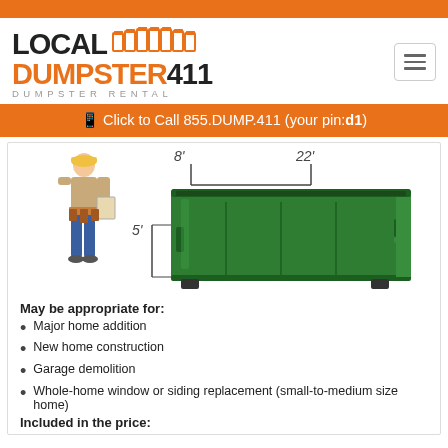[Figure (logo): Local Dumpster 411 logo with orange dumpster icon graphic and text 'DUMPSTER RENTAL' below]
[Figure (illustration): Green roll-off dumpster with dimensions labeled: 8 feet width, 22 feet length, 5 feet height, with a construction worker standing next to it]
May be appropriate for:
Major home addition
New home construction
Garage demolition
Whole-home window or siding replacement (small-to-medium size home)
Included in the price: